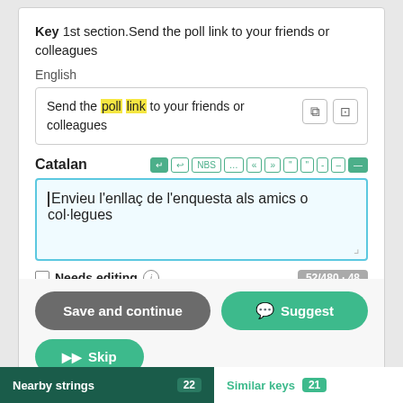Key 1st section.Send the poll link to your friends or colleagues
English
Send the poll link to your friends or colleagues
Catalan
Envieu l'enllaç de l'enquesta als amics o col·legues
Needs editing  52/480 · 48
Save and continue
Suggest
Skip
Nearby strings 22
Similar keys 21